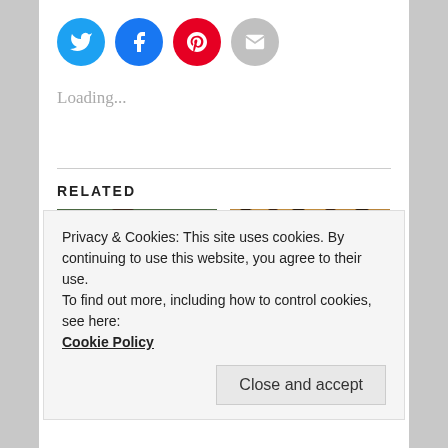[Figure (other): Social share buttons: Twitter (blue circle), Facebook (blue circle), Pinterest (red circle), Email (gray circle)]
Loading...
RELATED
[Figure (photo): Nature photo showing a deer in a green forest undergrowth]
[Figure (photo): Nature photo showing a forest path with autumn orange leaves on the ground]
All Geared Up For
#TheTreesStillGrow
Privacy & Cookies: This site uses cookies. By continuing to use this website, you agree to their use.
To find out more, including how to control cookies, see here:
Cookie Policy
Close and accept